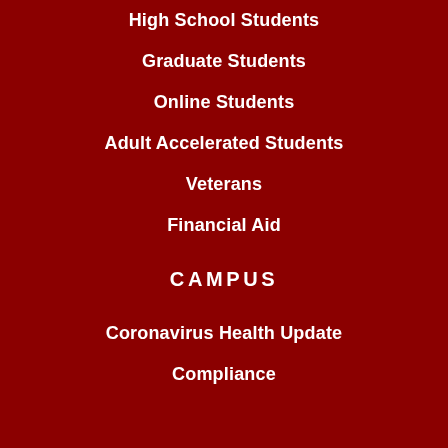High School Students
Graduate Students
Online Students
Adult Accelerated Students
Veterans
Financial Aid
CAMPUS
Coronavirus Health Update
Compliance